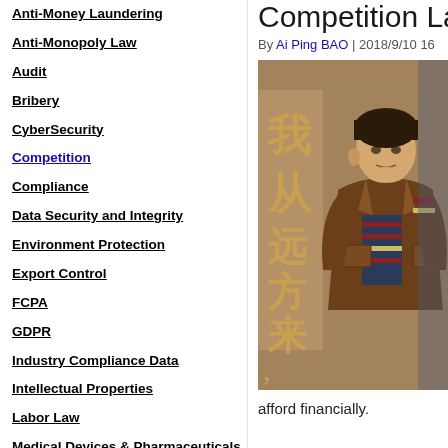Anti-Money Laundering
Anti-Monopoly Law
Audit
Bribery
CyberSecurity
Competition
Compliance
Data Security and Integrity
Environment Protection
Export Control
FCPA
GDPR
Industry Compliance Data
Intellectual Properties
Labor Law
Medical Devices & Pharmaceuticals
National & State Security
Personal Information
Competition Law
By Ai Ping BAO | 2018/9/10 16...
[Figure (photo): Photo of a man in a brown leather jacket with Chinese text in the background]
afford financially.